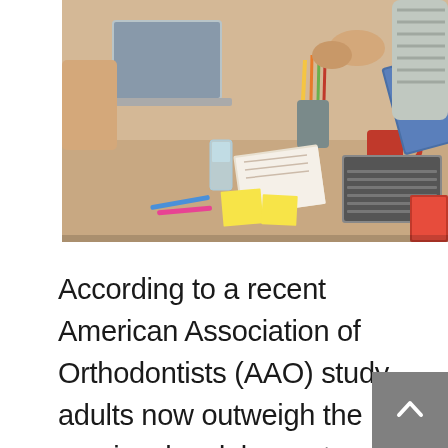[Figure (photo): People sitting around a desk with laptops, pencils, notebooks, coffee cups, and papers. Two people are shaking hands or exchanging something across the table.]
According to a recent American Association of Orthodontists (AAO) study, adults now outweigh the previously adolescent-dominated orthodontics market. Well-rounded, optimized orthodontic treatment is a win-win for both doctors and adult patients. When you become an Orthosnap provider, you gain access to the most effective, discreet, and affordable aligner